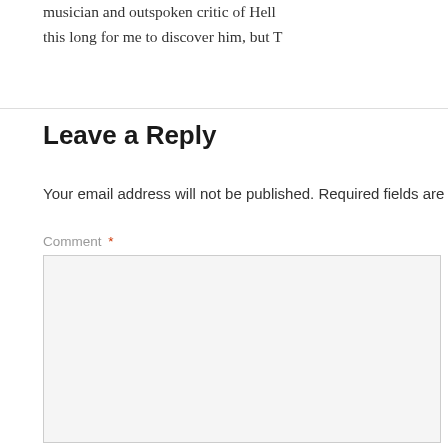musician and outspoken critic of Hell... this long for me to discover him, but T...
Leave a Reply
Your email address will not be published. Required fields are m...
Comment *